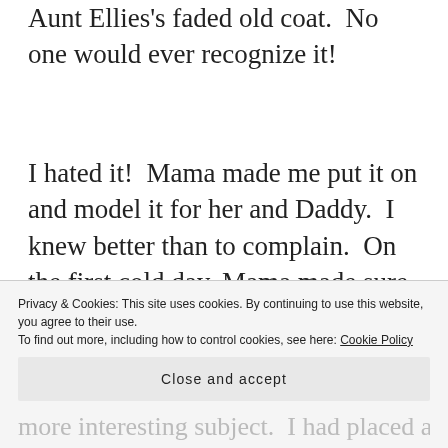Aunt Ellies's faded old coat.  No one would ever recognize it!
I hated it!  Mama made me put it on and model it for her and Daddy.  I knew better than to complain.  On the first cold day, Mama made sure I wore my new, old coat.  Ashamed, I rushed to hang it in the cloak room as soon as I got to school.  At recess, I hung
Privacy & Cookies: This site uses cookies. By continuing to use this website, you agree to their use. To find out more, including how to control cookies, see here: Cookie Policy
Close and accept
more interesting subject.  I had placed an almost